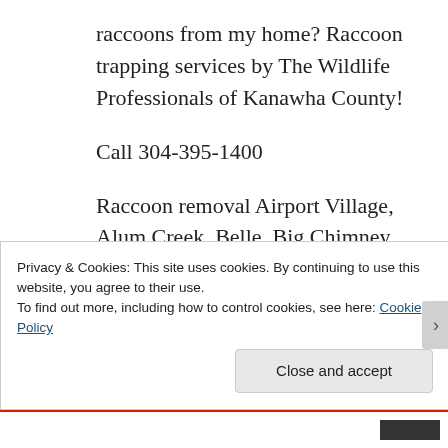raccoons from my home? Raccoon trapping services by The Wildlife Professionals of Kanawha County!
Call 304-395-1400
Raccoon removal Airport Village, Alum Creek, Belle, Big Chimney, Cedar Grove, Charleston, Chelyan, Chesapeake, Clendenin, Coal Fork,
Privacy & Cookies: This site uses cookies. By continuing to use this website, you agree to their use.
To find out more, including how to control cookies, see here: Cookie Policy

Close and accept